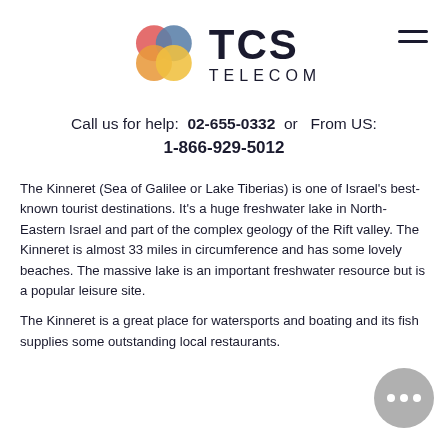[Figure (logo): TCS Telecom logo with overlapping colored circles (red, blue, orange, yellow) and text 'TCS TELECOM']
Call us for help: 02-655-0332 or From US: 1-866-929-5012
The Kinneret (Sea of Galilee or Lake Tiberias) is one of Israel's best-known tourist destinations. It's a huge freshwater lake in North-Eastern Israel and part of the complex geology of the Rift valley. The Kinneret is almost 33 miles in circumference and has some lovely beaches. The massive lake is an important freshwater resource but is a popular leisure site.
The Kinneret is a great place for watersports and boating and its fish supplies some outstanding local restaurants.
[Figure (illustration): Chat bubble icon with three dots indicating a messaging/support widget]